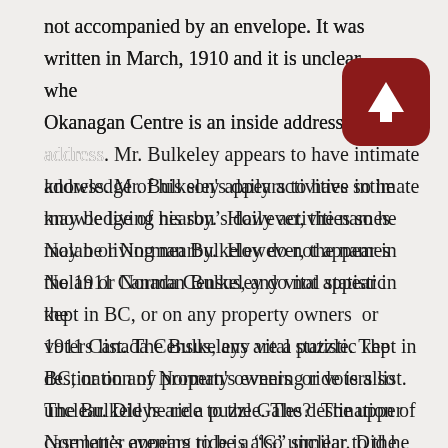not accompanied by an envelope. It was written in March, 1910 and it is unclear whether Okanagan Centre is an inside address or return address. Mr. Bulkeley appears to have intimate knowledge of his son's daily activities so he may be living nearby.  However, the names Nolan or Norman Bulkeley do not appear in the 1911 Canada Census, any vital statistic kept in BC, or on any property owners  or voters list. The Bulkeleys are a puzzle. The destination of Norman's evening ride is also unclear. Did he ride to the Gales?  The upper case letter appears to be a “G” similar to the one “Goldie” in the salutation. No Gales appear in any census, or list of owners of properties in the 1910 era.